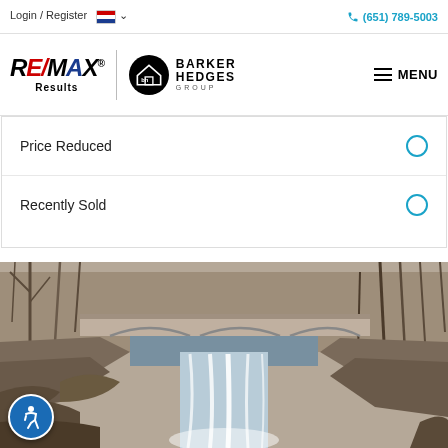Login / Register   (651) 789-5003
[Figure (logo): RE/MAX Results and Barker Hedges Group logos with hamburger menu button]
Price Reduced
Recently Sold
[Figure (photo): Outdoor waterfall scene with stone bridge and bare winter trees]